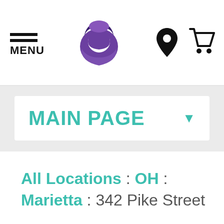MENU | Taco Bell logo | Location icon | Cart icon
MAIN PAGE
All Locations : OH : Marietta : 342 Pike Street
Stay Connected